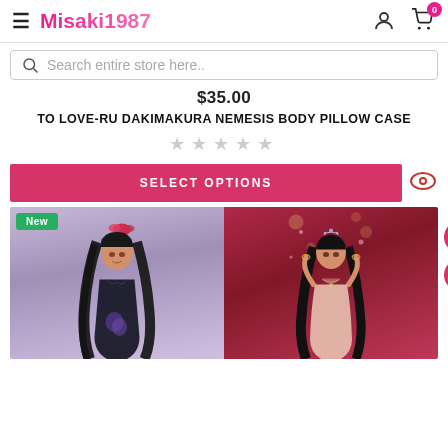Misaki1987
Search entire store here..
$35.00
TO LOVE-RU DAKIMAKURA NEMESIS BODY PILLOW CASE
[Figure (screenshot): Five empty gray star ratings]
SELECT OPTIONS
[Figure (photo): Anime body pillow case showing two illustrations of Nemesis character from To Love-Ru manga, left image shows character in dark kimono-style outfit with pink hair accessories, right image shows character in light pink dress with jewelry against red background. New badge in green top left corner.]